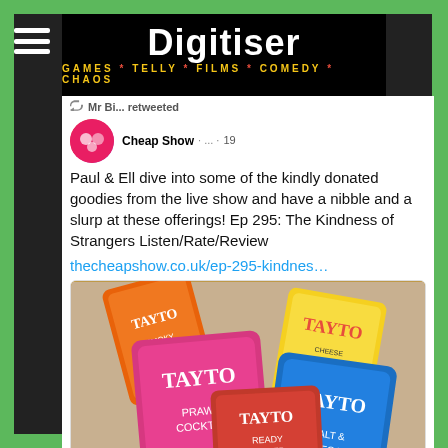[Figure (screenshot): Digitiser website logo/banner with black background, white bold text 'Digitiser' and yellow subtitle 'GAMES * TELLY * FILMS * COMEDY * CHAOS']
Mr B... retweeted
Cheap Show · ... · 19
Paul & Ell dive into some of the kindly donated goodies from the live show and have a nibble and a slurp at these offerings! Ep 295: The Kindness of Strangers Listen/Rate/Review
thecheapshow.co.uk/ep-295-kindnes…
[Figure (photo): Photo of multiple bags of Tayto crisps in various flavours including Prawn Cocktail (pink), Salt & Vinegar (blue), Smoky Bacon (orange), and Cheese & Onion (yellow) spread on a wooden surface]
thecheapshow.co.uk
Ep 295: Kindness of Strangers | thecheapshow